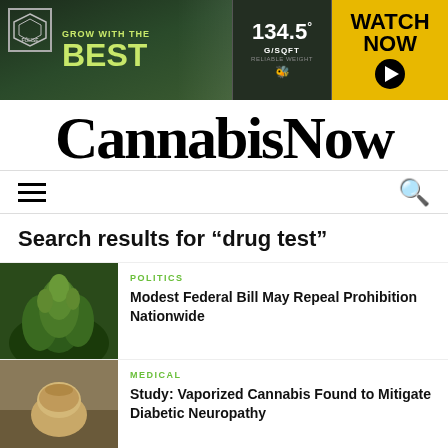[Figure (screenshot): Advertisement banner for Fohse: 'Grow with the Best' with cannabis imagery, '134.5 G/SQFT Reliable Weight', and 'Watch Now' button on yellow background]
CannabisNow
Navigation bar with hamburger menu and search icon
Search results for "drug test"
POLITICS
Modest Federal Bill May Repeal Prohibition Nationwide
MEDICAL
Study: Vaporized Cannabis Found to Mitigate Diabetic Neuropathy